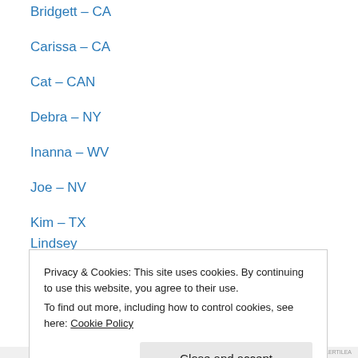Bridgett – CA
Carissa – CA
Cat – CAN
Debra – NY
Inanna – WV
Joe – NV
Kim – TX
Lindsey
Marigold – CA
Michelle – GA
Nina – NC
Noonie – UK
OldOldLady – CA
Privacy & Cookies: This site uses cookies. By continuing to use this website, you agree to their use. To find out more, including how to control cookies, see here: Cookie Policy
Close and accept